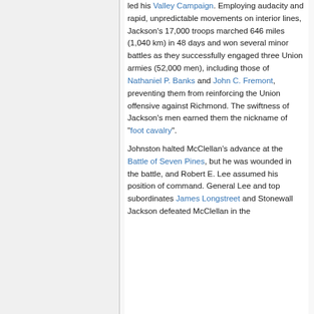led his Valley Campaign. Employing audacity and rapid, unpredictable movements on interior lines, Jackson's 17,000 troops marched 646 miles (1,040 km) in 48 days and won several minor battles as they successfully engaged three Union armies (52,000 men), including those of Nathaniel P. Banks and John C. Fremont, preventing them from reinforcing the Union offensive against Richmond. The swiftness of Jackson's men earned them the nickname of "foot cavalry".
Johnston halted McClellan's advance at the Battle of Seven Pines, but he was wounded in the battle, and Robert E. Lee assumed his position of command. General Lee and top subordinates James Longstreet and Stonewall Jackson defeated McClellan in the